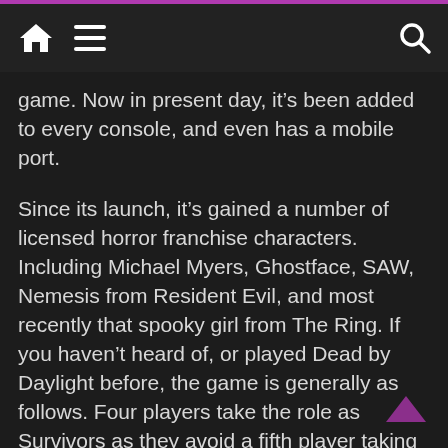[Navigation bar with home, menu, and search icons]
game. Now in present day, it’s been added to every console, and even has a mobile port.
Since its launch, it’s gained a number of licensed horror franchise characters. Including Michael Myers, Ghostface, SAW, Nemesis from Resident Evil, and most recently that spooky girl from The Ring. If you haven’t heard of, or played Dead by Daylight before, the game is generally as follows. Four players take the role as Survivors as they avoid a fifth player taking the role as a Killer. The objective for the survivors is to start 5 generators on the map in order to power an exit gate, and escape.
The Killer’s main objective is to hunt the Survivors, pin them on giant hooks, and present